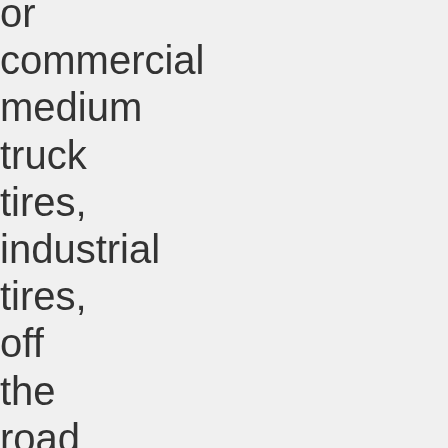or commercial medium truck tires, industrial tires, off the road tires and commercial light truck tires. With